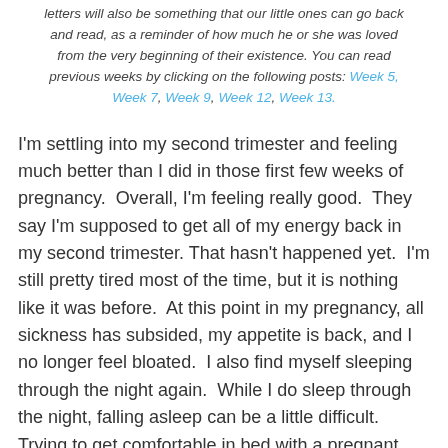letters will also be something that our little ones can go back and read, as a reminder of how much he or she was loved from the very beginning of their existence. You can read previous weeks by clicking on the following posts: Week 5, Week 7, Week 9, Week 12, Week 13.
I'm settling into my second trimester and feeling much better than I did in those first few weeks of pregnancy.  Overall, I'm feeling really good.  They say I'm supposed to get all of my energy back in my second trimester. That hasn't happened yet.  I'm still pretty tired most of the time, but it is nothing like it was before.  At this point in my pregnancy, all sickness has subsided, my appetite is back, and I no longer feel bloated.  I also find myself sleeping through the night again.  While I do sleep through the night, falling asleep can be a little difficult.  Trying to get comfortable in bed with a pregnant